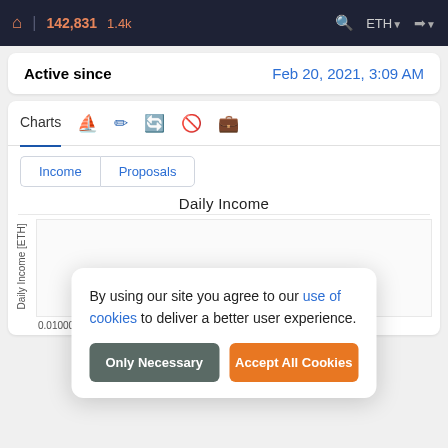142,831  1.4k  ETH
| Field | Value |
| --- | --- |
| Active since | Feb 20, 2021, 3:09 AM |
Charts
Income  Proposals
Daily Income
[Figure (other): Daily Income chart area with y-axis label 'Daily Income [ETH]' and y-tick value 0.01000]
By using our site you agree to our use of cookies to deliver a better user experience.
Only Necessary  Accept All Cookies